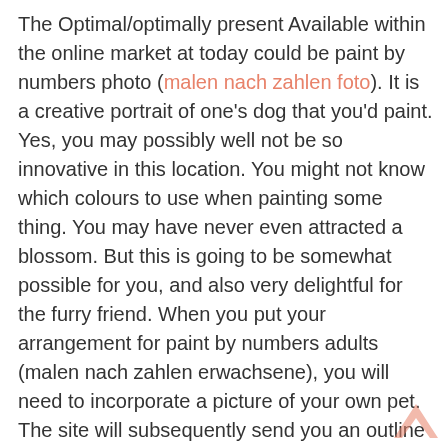The Optimal/optimally present Available within the online market at today could be paint by numbers photo (malen nach zahlen foto). It is a creative portrait of one's dog that you'd paint. Yes, you may possibly well not be so innovative in this location. You might not know which colours to use when painting some thing. You may have never even attracted a blossom. But this is going to be somewhat possible for you, and also very delightful for the furry friend. When you put your arrangement for paint by numbers adults (malen nach zahlen erwachsene), you will need to incorporate a picture of your own pet. The site will subsequently send you an outline of the portrait. You may also get the designated colors you're going to need in your dog's paint by numbers photo (malen nach zahlen foto). The outline could be split into several sections/segments that will be numbered. You will also be familiar with the colors you will fill in each individual section.